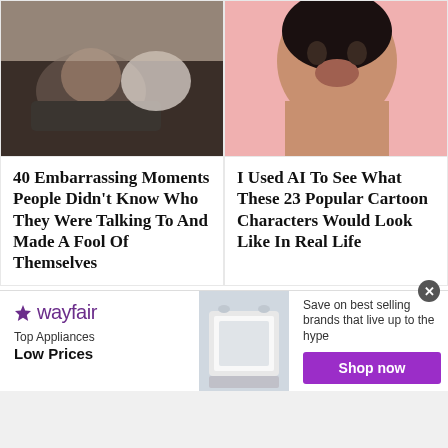[Figure (photo): Man lying on couch looking at phone with dog nearby]
40 Embarrassing Moments People Didn't Know Who They Were Talking To And Made A Fool Of Themselves
[Figure (photo): Close-up portrait of woman with dark hair and bold makeup on pink background]
I Used AI To See What These 23 Popular Cartoon Characters Would Look Like In Real Life
[Figure (photo): Woman in white wedding dress looking angry]
[Figure (photo): Person in black cap and mask signing a package at door]
[Figure (photo): Wayfair advertisement with appliance image]
Top Appliances Low Prices
Save on best selling brands that live up to the hype
Shop now